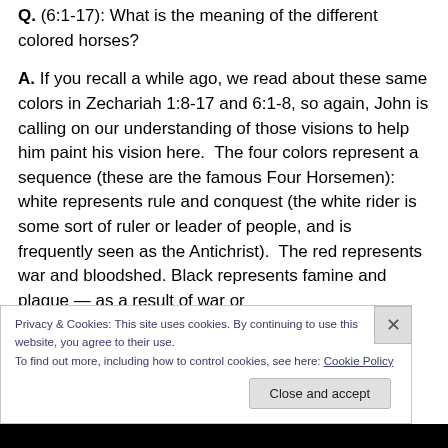Q. (6:1-17): What is the meaning of the different colored horses?
A. If you recall a while ago, we read about these same colors in Zechariah 1:8-17 and 6:1-8, so again, John is calling on our understanding of those visions to help him paint his vision here.  The four colors represent a sequence (these are the famous Four Horsemen): white represents rule and conquest (the white rider is some sort of ruler or leader of people, and is frequently seen as the Antichrist).  The red represents war and bloodshed. Black represents famine and plague — as a result of war or
Privacy & Cookies: This site uses cookies. By continuing to use this website, you agree to their use.
To find out more, including how to control cookies, see here: Cookie Policy
Close and accept